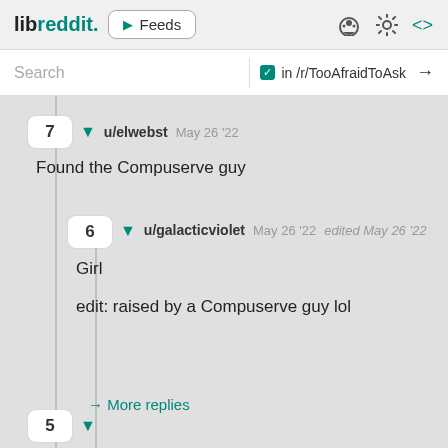libreddit. ▶ Feeds
Search  in /r/TooAfraidToAsk →
7  ▼  u/elwebst  May 26 '22
Found the Compuserve guy
6  ▼  u/galacticviolet  May 26 '22  edited May 26 '22
Girl

edit: raised by a Compuserve guy lol
→ More replies
5  ▼